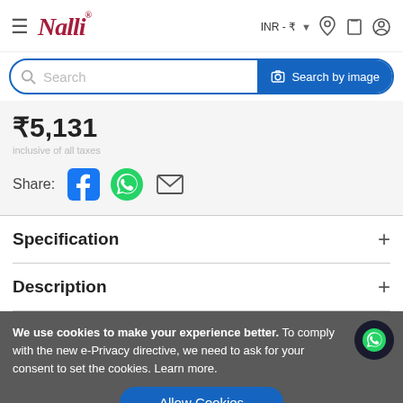Nalli — INR ₹
Search
₹5,131
Share:
Specification
Description
We use cookies to make your experience better. To comply with the new e-Privacy directive, we need to ask for your consent to set the cookies. Learn more.
Allow Cookies